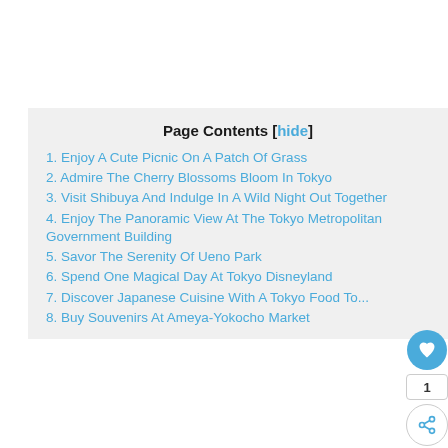Page Contents [hide]
1. Enjoy A Cute Picnic On A Patch Of Grass
2. Admire The Cherry Blossoms Bloom In Tokyo
3. Visit Shibuya And Indulge In A Wild Night Out Together
4. Enjoy The Panoramic View At The Tokyo Metropolitan Government Building
5. Savor The Serenity Of Ueno Park
6. Spend One Magical Day At Tokyo Disneyland
7. Discover Japanese Cuisine With A Tokyo Food To...
8. Buy Souvenirs At Ameya-Yokocho Market